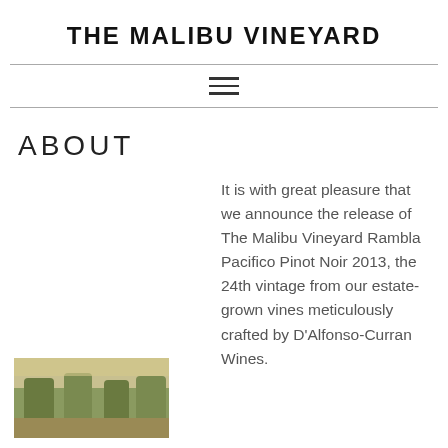THE MALIBU VINEYARD
[Figure (other): Hamburger menu icon (three horizontal lines)]
ABOUT
It is with great pleasure that we announce the release of The Malibu Vineyard Rambla Pacifico Pinot Noir 2013, the 24th vintage from our estate-grown vines meticulously crafted by D'Alfonso-Curran Wines.
[Figure (photo): Partial view of vineyard or wine-related photo at bottom left]